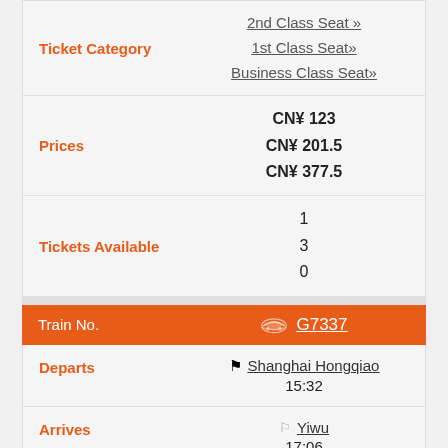|  | Ticket Category | Prices | Tickets Available |
| --- | --- | --- | --- |
| Ticket Category | 2nd Class Seat » | CN¥ 123 | 1 |
|  | 1st Class Seat» | CN¥ 201.5 | 3 |
|  | Business Class Seat» | CN¥ 377.5 | 0 |
| Train No. | G7337 |
| --- | --- |
| Departs | Shanghai Hongqiao | 15:32 |
| --- | --- | --- |
| Arrives | Yiwu | 17:06 |
| --- | --- | --- |